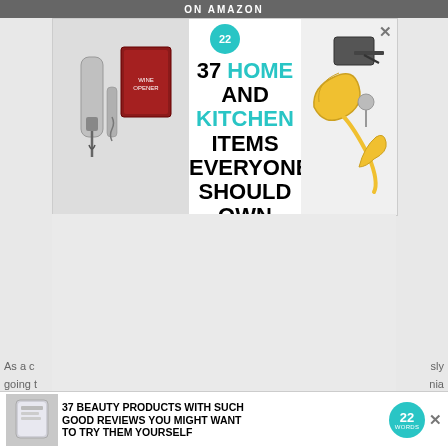[Figure (screenshot): Partial webpage screenshot showing two advertisement overlays on a gray content area. Top ad: '37 HOME AND KITCHEN ITEMS EVERYONE SHOULD OWN' with kitchen gadget images and a 22Words badge. Bottom sticky ad: '37 BEAUTY PRODUCTS WITH SUCH GOOD REVIEWS YOU MIGHT WANT TO TRY THEM YOURSELF' with a product image and 22Words badge. A CLOSE button is visible. Partial article text visible at edges.]
As a c... sly
going t... nia